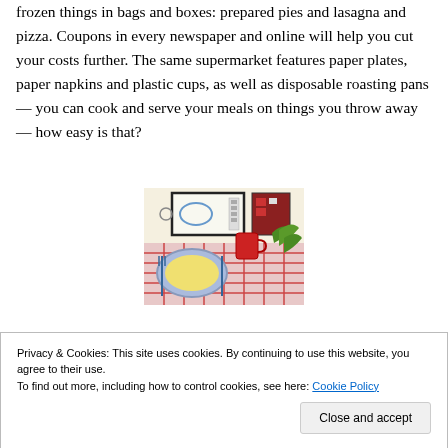frozen things in bags and boxes: prepared pies and lasagna and pizza. Coupons in every newspaper and online will help you cut your costs further. The same supermarket features paper plates, paper napkins and plastic cups, as well as disposable roasting pans — you can cook and serve your meals on things you throw away — how easy is that?
[Figure (illustration): A child's crayon drawing of a kitchen scene showing a microwave on a counter, a blue plate with food on a red checkered tablecloth, and various kitchen items]
Privacy & Cookies: This site uses cookies. By continuing to use this website, you agree to their use.
To find out more, including how to control cookies, see here: Cookie Policy
Close and accept